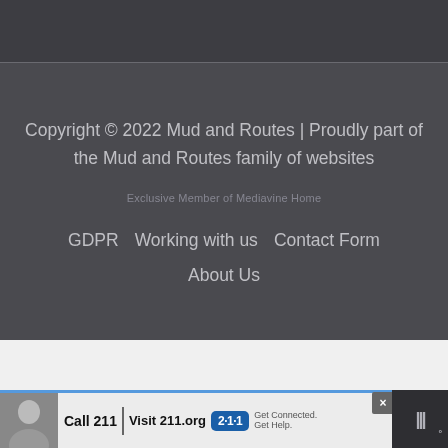Copyright © 2022 Mud and Routes | Proudly part of the Mud and Routes family of websites
Exclusive Member of Mediavine Home
GDPR
Working with us
Contact Form
About Us
[Figure (infographic): Advertisement banner: Call 211 | Visit 211.org badge with a person's photo and logo]
Copyright © 2022 Mud and Routes | Proudly part of the Mud and Routes family of websites Exclusive Member of Mediavine Home GDPR Working with us Contact Form About Us